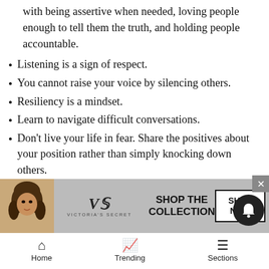with being assertive when needed, loving people enough to tell them the truth, and holding people accountable.
Listening is a sign of respect.
You cannot raise your voice by silencing others.
Resiliency is a mindset.
Learn to navigate difficult conversations.
Don't live your life in fear. Share the positives about your position rather than simply knocking down others.
Being “liked” isn't always possible at every moment. You owe it to yourself (and to others) to be uncomfortable when necessary.
The world is changing. Always will be. The key to success is accepting this and not clinging to the past.
And maybe most importantly, you will never regret choosing kindness.
[Figure (photo): Victoria's Secret advertisement banner with model, logo, 'SHOP THE COLLECTION' text, and 'SHOP NOW' button]
Home   Trending   Sections